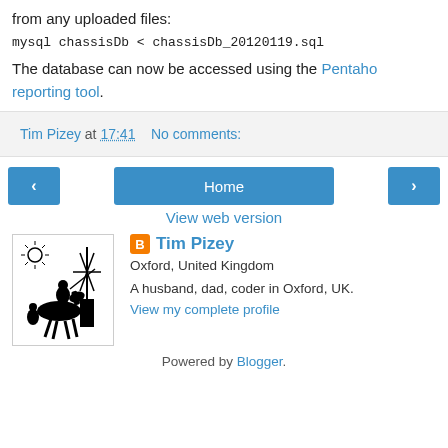from any uploaded files:
The database can now be accessed using the Pentaho reporting tool.
Tim Pizey at 17:41   No comments:
‹   Home   ›
View web version
[Figure (illustration): Black and white illustration of Don Quixote on horseback with windmills]
Tim Pizey
Oxford, United Kingdom
A husband, dad, coder in Oxford, UK.
View my complete profile
Powered by Blogger.